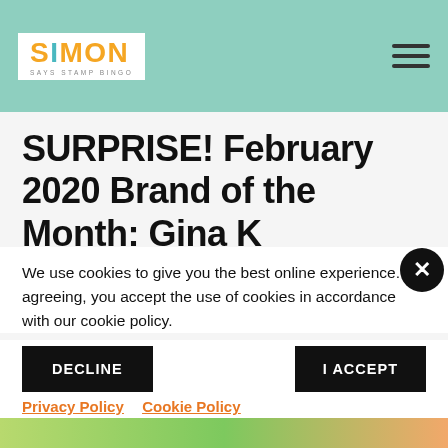Simon Says Stamp Blog
SURPRISE! February 2020 Brand of the Month: Gina K
We use cookies to give you the best online experience. By agreeing, you accept the use of cookies in accordance with our cookie policy.
DECLINE   I ACCEPT
Privacy Policy   Cookie Policy
[Figure (illustration): Partial view of colorful crafting/stamp artwork at the bottom of the page]